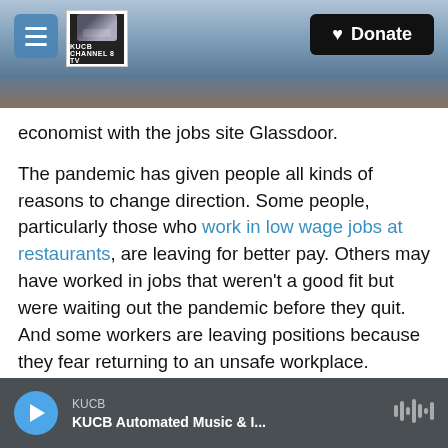KUCB Channel 8 TV — Donate
economist with the jobs site Glassdoor.
The pandemic has given people all kinds of reasons to change direction. Some people, particularly those who work in low wage jobs at restaurants, are leaving for better pay. Others may have worked in jobs that weren't a good fit but were waiting out the pandemic before they quit. And some workers are leaving positions because they fear returning to an unsafe workplace.
Restaurant and hotel workers led the way in spring resignations
KUCB — KUCB Automated Music & I...